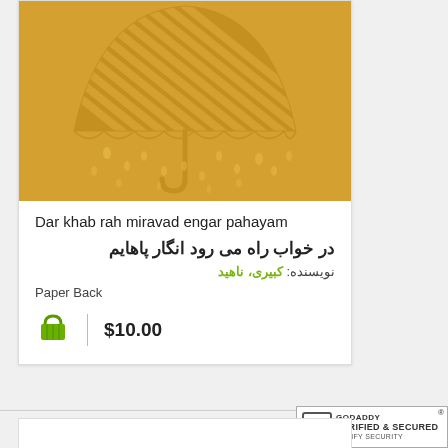[Figure (illustration): Book cover with golden/amber background showing a striped umbrella with rain drops falling underneath it]
Dar khab rah miravad engar pahayam
در خواب راه می رود انگار پاهایم
نویسنده: کبیری، ناهید
Paper Back
$10.00